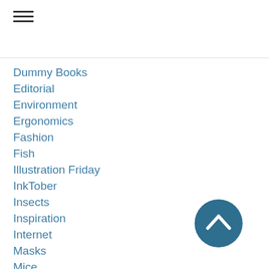[Figure (other): Hamburger menu icon with three horizontal lines]
Dummy Books
Editorial
Environment
Ergonomics
Fashion
Fish
Illustration Friday
InkTober
Insects
Inspiration
Internet
Masks
Mice
Nature Art
New Year's
Perception
Portfolios
Portraits
[Figure (other): Scroll-to-top button: dark teal circle with upward chevron arrow]